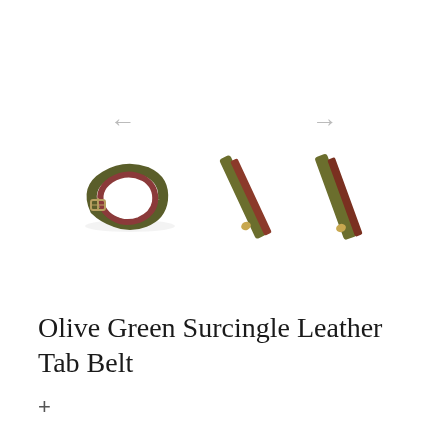[Figure (photo): Three product images of an olive green surcingle leather tab belt: a coiled/buckled view on the left, and two diagonal strap views in the center and right. Navigation arrows (left and right) appear above the images.]
Olive Green Surcingle Leather Tab Belt
+